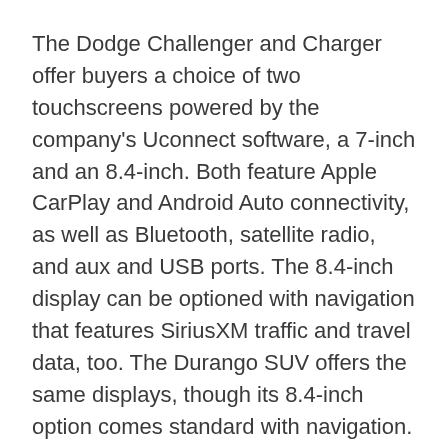The Dodge Challenger and Charger offer buyers a choice of two touchscreens powered by the company's Uconnect software, a 7-inch and an 8.4-inch. Both feature Apple CarPlay and Android Auto connectivity, as well as Bluetooth, satellite radio, and aux and USB ports. The 8.4-inch display can be optioned with navigation that features SiriusXM traffic and travel data, too. The Durango SUV offers the same displays, though its 8.4-inch option comes standard with navigation.
The Journey is the oldest vehicle in the Dodge lineup and thus has the oldest infotainment features. A 4.3-inch touchscreen is standard on base models, with AM/FM radio, Bluetooth plus aux and USB ports, as well as optional satellite radio. You can option up to the 8.4-inch screen running Uconnect 3 (a version behind other Dodge models), with or without navigation, and without any support for CarPlay or Android Auto.